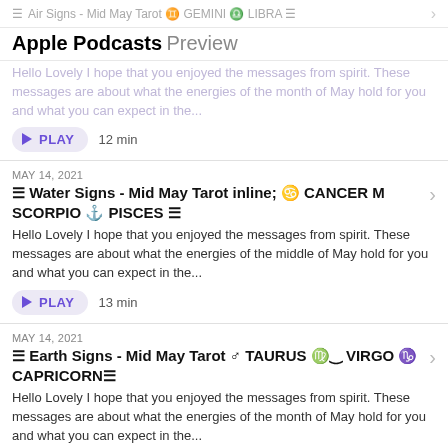≡ Air Signs - Mid May Tarot ♊ GEMINI ♎ LIBRA ≡
Apple Podcasts Preview
Hello Lovely I hope that you enjoyed the messages from spirit. These messages are about what the energies of the month of May hold for you and what you can expect in the...
PLAY 12 min
MAY 14, 2021
≡ Water Signs - Mid May Tarot ♋ CANCER ♏ SCORPIO ♓ PISCES ≡
Hello Lovely I hope that you enjoyed the messages from spirit. These messages are about what the energies of the middle of May hold for you and what you can expect in the...
PLAY 13 min
MAY 14, 2021
≡ Earth Signs - Mid May Tarot ♉ TAURUS ♍ VIRGO ♑ CAPRICORN ≡
Hello Lovely I hope that you enjoyed the messages from spirit. These messages are about what the energies of the month of May hold for you and what you can expect in the...
PLAY 13 min